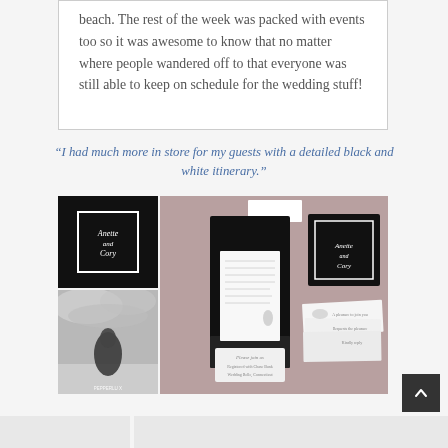beach. The rest of the week was packed with events too so it was awesome to know that no matter where people wandered off to that everyone was still able to keep on schedule for the wedding stuff!
"I had much more in store for my guests with a detailed black and white itinerary."
[Figure (photo): Collage of wedding photos and stationery: top-left shows a black square invitation with white script; bottom-left shows a black-and-white beach wedding photo of couple embracing; right side shows black pocket folder with invitation inserts, RSVP cards, and white envelopes displayed on a mauve/dusty rose background.]